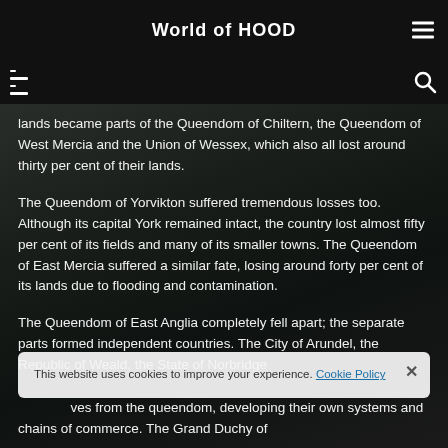World of HOOD
lands became parts of the Queendom of Chiltern, the Queendom of West Mercia and the Union of Wessex, which also all lost around thirty per cent of their lands.
The Queendom of Yorvikton suffered tremendous losses too. Although its capital York remained intact, the country lost almost fifty per cent of its fields and many of its smaller towns. The Queendom of East Mercia suffered a similar fate, losing around forty per cent of its lands due to flooding and contamination.
The Queendom of East Anglia completely fell apart; the separate parts formed independent countries. The City of Arundel, the Republic of Weald, the State of Norbridge...
...ves from the queendom, developing their own systems and chains of commerce. The Grand Duchy of
This website uses cookies to improve your experience. Cookie Policy